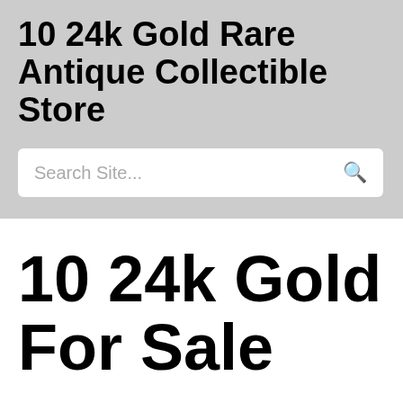10 24k Gold Rare Antique Collectible Store
Search Site...
10 24k Gold For Sale